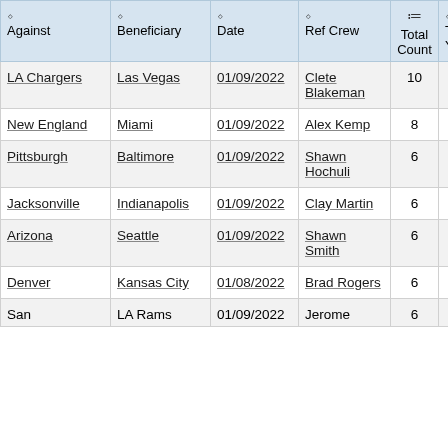| Against | Beneficiary | Date | Ref Crew | Total Count | Total Yards | Off Co |
| --- | --- | --- | --- | --- | --- | --- |
| LA Chargers | Las Vegas | 01/09/2022 | Clete Blakeman | 10 | 108 | 2 |
| New England | Miami | 01/09/2022 | Alex Kemp | 8 | 78 | 2 |
| Pittsburgh | Baltimore | 01/09/2022 | Shawn Hochuli | 6 | 43 | 4 |
| Jacksonville | Indianapolis | 01/09/2022 | Clay Martin | 6 | 49 | 4 |
| Arizona | Seattle | 01/09/2022 | Shawn Smith | 6 | 46 | 6 |
| Denver | Kansas City | 01/08/2022 | Brad Rogers | 6 | 45 | 2 |
| San | LA Rams | 01/09/2022 | Jerome | 6 | 56 | 2 |